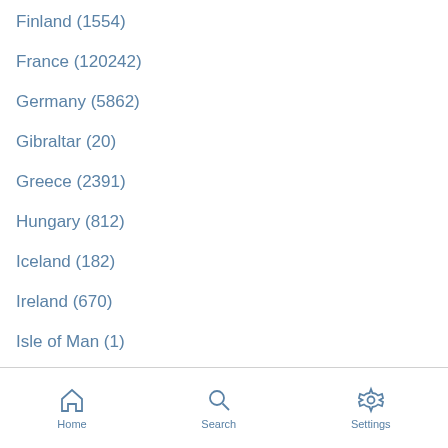Finland (1554)
France (120242)
Germany (5862)
Gibraltar (20)
Greece (2391)
Hungary (812)
Iceland (182)
Ireland (670)
Isle of Man (1)
Home  Search  Settings